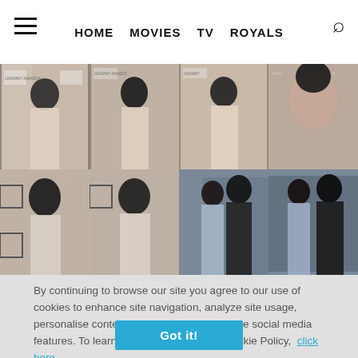HOME  MOVIES  TV  ROYALS
[Figure (photo): Grid of 8 celebrity photos showing a woman with dark updo hair in a white/nude dress at what appears to be the Grammy Awards, shown from various angles and distances; bottom-right two photos show a couple leaning close together indoors]
By continuing to browse our site you agree to our use of cookies to enhance site navigation, analyze site usage, personalise content and ads, and to enhance social media features. To learn more and to view our Cookie Policy,  click here.
Got it!